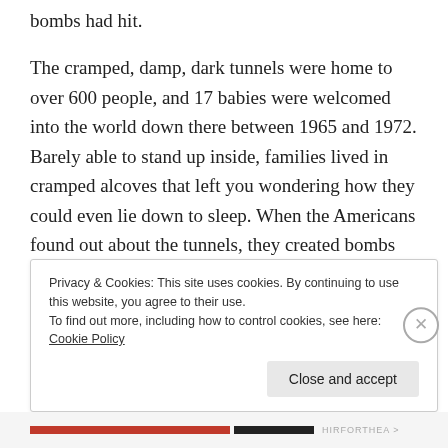bombs had hit.
The cramped, damp, dark tunnels were home to over 600 people, and 17 babies were welcomed into the world down there between 1965 and 1972. Barely able to stand up inside, families lived in cramped alcoves that left you wondering how they could even lie down to sleep. When the Americans found out about the tunnels, they created bombs designed to penetrate deeper. The Vietnamese’ response was to simply tunnel deeper. At its deepest point, the colony was living about 30 meters below the surface. Talk about resilience.
Privacy & Cookies: This site uses cookies. By continuing to use this website, you agree to their use.
To find out more, including how to control cookies, see here: Cookie Policy
Close and accept